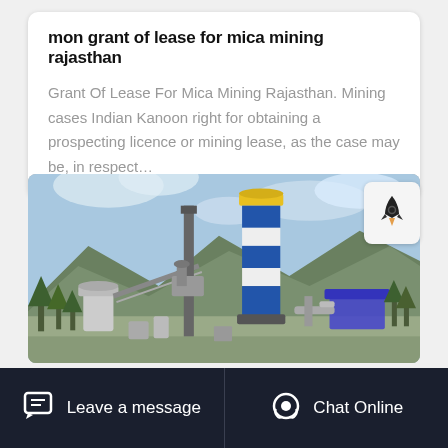mon grant of lease for mica mining rajasthan
Grant Of Lease For Mica Mining Rajasthan. Mining cases Indian Kanoon right for obtaining a prospecting licence or mining lease, as the case may be, in respect…
[Figure (photo): Industrial mining plant with a tall blue and white striped silo/tower, metal pipework, conveyor structures, and green hills in the background under a partly cloudy sky.]
Leave a message  Chat Online